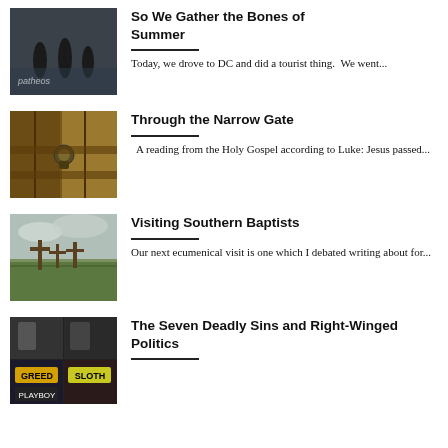[Figure (photo): Dark moody photo with patheos watermark text]
So We Gather the Bones of Summer
Today, we drove to DC and did a tourist thing.  We went...
[Figure (photo): Wooden gate or door with lock hardware]
Through the Narrow Gate
A reading from the Holy Gospel according to Luke: Jesus passed...
[Figure (photo): Outdoor scene with crosses in grass, cloudy sky]
Visiting Southern Baptists
Our next ecumenical visit is one which I debated writing about for...
[Figure (photo): Collage image with GREED, SLOTH, PLAYBOY text overlays]
The Seven Deadly Sins and Right-Winged Politics